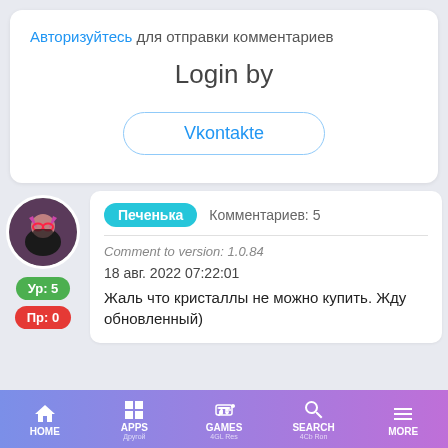Авторизуйтесь для отправки комментариев
Login by
Vkontakte
Печенька  Комментариев: 5
Comment to version: 1.0.84
18 авг. 2022 07:22:01
Жаль что кристаллы не можно купить. Жду обновленный)
HOME  APPS  GAMES  SEARCH  MORE